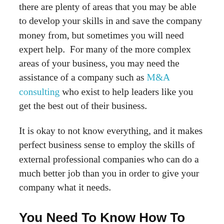there are plenty of areas that you may be able to develop your skills in and save the company money from, but sometimes you will need expert help.  For many of the more complex areas of your business, you may need the assistance of a company such as M&A consulting who exist to help leaders like you get the best out of their business.
It is okay to not know everything, and it makes perfect business sense to employ the skills of external professional companies who can do a much better job than you in order to give your company what it needs.
You Need To Know How To Delegate
Similarly, if you are a business leader that likes to keep hold of the important jobs so that they are done right you are failing on many levels.
Your time is only limited, and if you have people working for